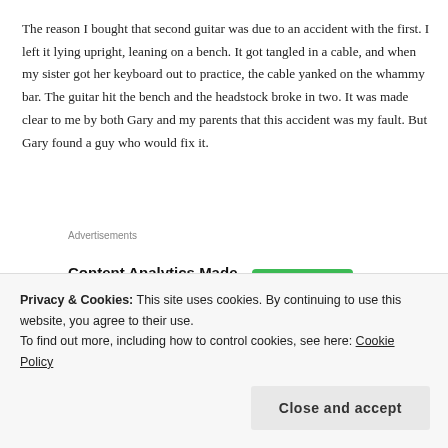The reason I bought that second guitar was due to an accident with the first.  I left it lying upright, leaning on a bench.  It got tangled in a cable, and when my sister got her keyboard out to practice, the cable yanked on the whammy bar.  The guitar hit the bench and the headstock broke in two.  It was made clear to me by both Gary and my parents that this accident was my fault.  But Gary found a guy who would fix it.
Advertisements
[Figure (screenshot): Parse.ly Content Analytics Made Easy advertisement banner with a green 'Get A Demo' button and Parse.ly logo]
A broken guitar is never as
[Figure (photo): Partial photo of a guitar or instrument, dark toned image]
Privacy & Cookies: This site uses cookies. By continuing to use this website, you agree to their use.
To find out more, including how to control cookies, see here: Cookie Policy
Close and accept